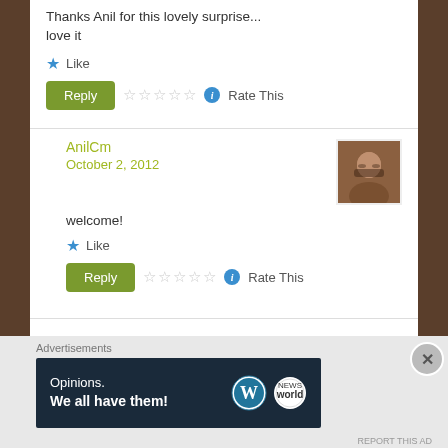Thanks Anil for this lovely surprise...
love it
★ Like
Reply ☆☆☆☆☆ ℹ Rate This
AnilCm
October 2, 2012
[Figure (photo): Avatar photo of a man with glasses]
welcome!
★ Like
Reply ☆☆☆☆☆ ℹ Rate This
Advertisements
[Figure (infographic): Ad banner: Opinions. We all have them! with WordPress and another logo]